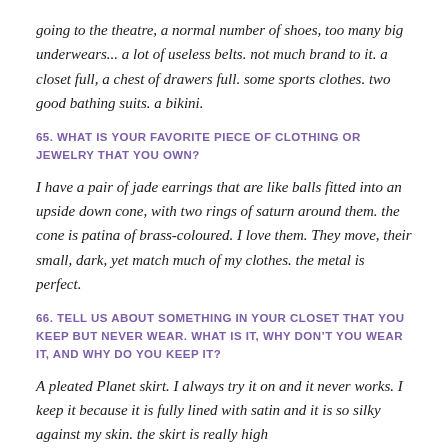going to the theatre, a normal number of shoes, too many big underwears... a lot of useless belts. not much brand to it. a closet full, a chest of drawers full. some sports clothes. two good bathing suits. a bikini.
65. WHAT IS YOUR FAVORITE PIECE OF CLOTHING OR JEWELRY THAT YOU OWN?
I have a pair of jade earrings that are like balls fitted into an upside down cone, with two rings of saturn around them. the cone is patina of brass-coloured. I love them. They move, their small, dark, yet match much of my clothes. the metal is perfect.
66. TELL US ABOUT SOMETHING IN YOUR CLOSET THAT YOU KEEP BUT NEVER WEAR. WHAT IS IT, WHY DON'T YOU WEAR IT, AND WHY DO YOU KEEP IT?
A pleated Planet skirt. I always try it on and it never works. I keep it because it is fully lined with satin and it is so silky against my skin. the skirt is really high...